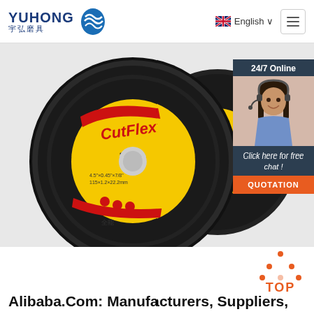YUHONG 宇弘磨具 | English | Menu
[Figure (photo): CutFlex abrasive cutting discs/wheels stacked, showing yellow and black label with 'CutFlex' branding and 'Inox' designation]
[Figure (photo): Chat widget with '24/7 Online' header, photo of customer service woman with headset, text 'Click here for free chat!', and orange QUOTATION button]
[Figure (infographic): Orange TOP button with dotted triangle icon above text 'TOP']
Alibaba.Com: Manufacturers, Suppliers,